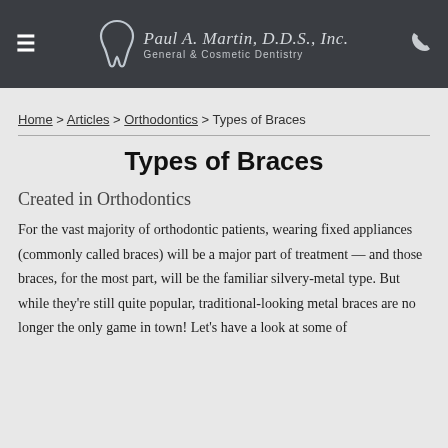Paul A. Martin, D.D.S., Inc. General & Cosmetic Dentistry
Home > Articles > Orthodontics > Types of Braces
Types of Braces
Created in Orthodontics
For the vast majority of orthodontic patients, wearing fixed appliances (commonly called braces) will be a major part of treatment — and those braces, for the most part, will be the familiar silvery-metal type. But while they're still quite popular, traditional-looking metal braces are no longer the only game in town! Let's have a look at some of